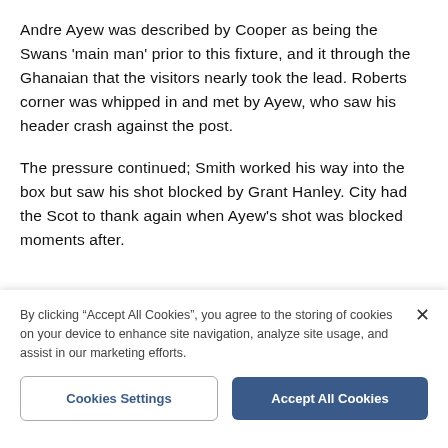Andre Ayew was described by Cooper as being the Swans 'main man' prior to this fixture, and it through the Ghanaian that the visitors nearly took the lead. Roberts corner was whipped in and met by Ayew, who saw his header crash against the post.
The pressure continued; Smith worked his way into the box but saw his shot blocked by Grant Hanley. City had the Scot to thank again when Ayew's shot was blocked moments after.
[Figure (photo): A footballer in white kit (with 'LOWE' on back) seen from behind, standing in front of green stadium seats.]
By clicking "Accept All Cookies", you agree to the storing of cookies on your device to enhance site navigation, analyze site usage, and assist in our marketing efforts.